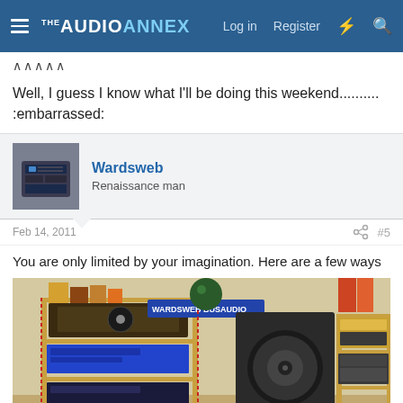THE AUDIO ANNEX — Log in  Register
∧∧∧∧∧
Well, I guess I know what I'll be doing this weekend.......... :embarrassed:
Wardsweb
Renaissance man
Feb 14, 2011  #5
You are only limited by your imagination. Here are a few ways
[Figure (photo): Photo of a multi-shelf audio equipment rack holding various audio components, speakers, records, and labeled 'WARDSWEB BUSAUDIO']